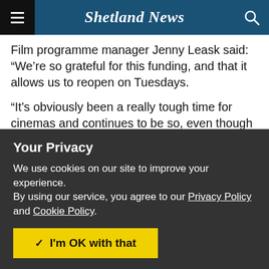Shetland News
Film programme manager Jenny Leask said: “We’re so grateful for this funding, and that it allows us to reopen on Tuesdays.
“It’s obviously been a really tough time for cinemas and continues to be so, even though some aspects like film release schedules have settled down at last.
“Many of our customers have simply got out of the habit of
Your Privacy
We use cookies on our site to improve your experience.
By using our service, you agree to our Privacy Policy and Cookie Policy.
I'm OK with that